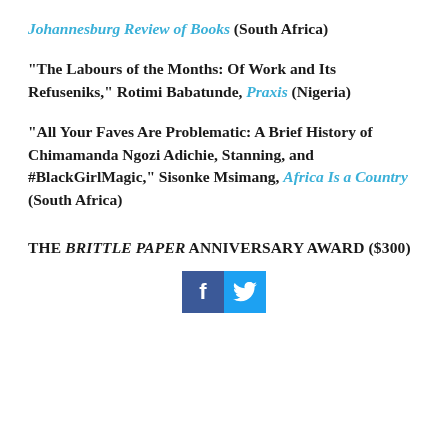Johannesburg Review of Books (South Africa)
“The Labours of the Months: Of Work and Its Refuseniks,” Rotimi Babatunde, Praxis (Nigeria)
“All Your Faves Are Problematic: A Brief History of Chimamanda Ngozi Adichie, Stanning, and #BlackGirlMagic,” Sisonke Msimang, Africa Is a Country (South Africa)
THE BRITTLE PAPER ANNIVERSARY AWARD ($300)
[Figure (other): Social media share icons: Facebook (blue) and Twitter (light blue)]